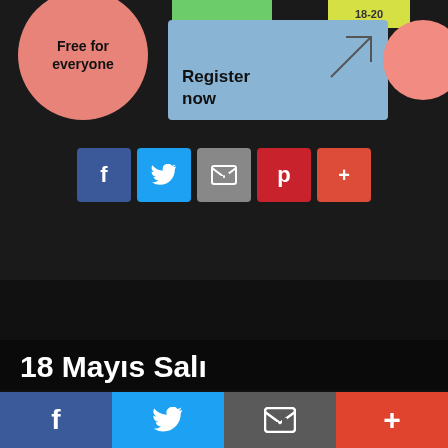[Figure (infographic): Event registration info with pink circle 'Free for everyone', blue 'Register now' box with arrow, and social share buttons (Facebook, Twitter, email, Pinterest, Google+)]
[Figure (infographic): Instagram follow banner with red-orange gradient: camera icon, divider, 'TIKLA! BİZİ TAKİP ET @TEKNOLOJIKAHINI']
18 Mayıs Salı
08:00PM
08:00PM - 10:00PM
[Figure (infographic): Bottom navigation bar with Facebook (blue), Twitter (cyan), email (gray), Google+ (red) icons]